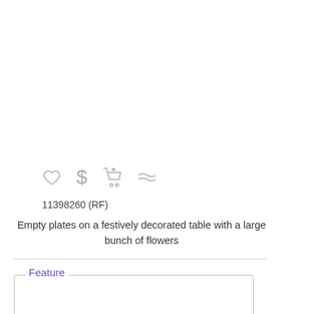[Figure (other): Icon row with heart, dollar sign, shopping cart, and approximately-equal symbol]
11398260 (RF)
Empty plates on a festively decorated table with a large bunch of flowers
Feature